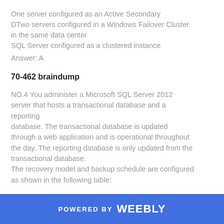One server configured as an Active Secondary DTwo servers configured in a Windows Failover Cluster in the same data center SQL Server configured as a clustered instance
Answer: A
70-462 braindump
NO.4 You administer a Microsoft SQL Server 2012 server that hosts a transactional database and a reporting database. The transactional database is updated through a web application and is operational throughout the day. The reporting database is only updated from the transactional database. The recovery model and backup schedule are configured as shown in the following table:
POWERED BY weebly